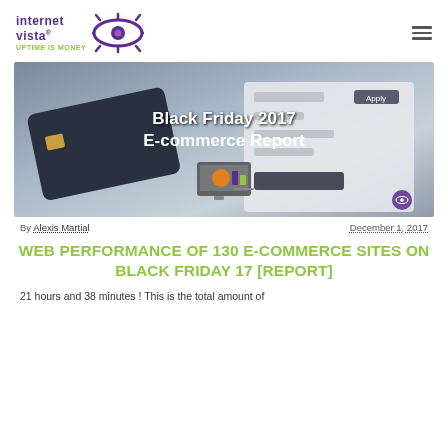[Figure (logo): Internet Vista logo with purple eye icon and tagline UPTIME IS MONEY]
[Figure (photo): Hero banner image showing credit card and e-commerce screen with text: Black Friday 2017 E-commerce Report and a monitor icon]
By Alexis Martial    December 1, 2017
WEB PERFORMANCE OF 130 E-COMMERCE SITES ON BLACK FRIDAY 17 [REPORT]
21 hours and 38 minutes ! This is the total amount of